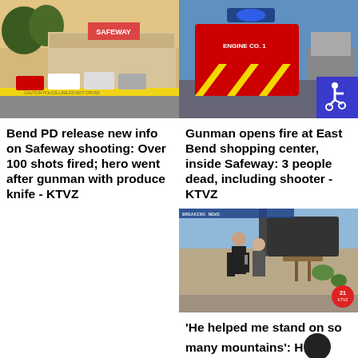[Figure (photo): Safeway store exterior with police tape and emergency vehicles]
[Figure (photo): Fire truck with flashing lights at scene, accessibility symbol badge in corner]
Bend PD release new info on Safeway shooting: Over 100 shots fired; hero went after gunman with produce knife - KTVZ
Gunman opens fire at East Bend shopping center, inside Safeway: 3 people dead, including shooter - KTVZ
[Figure (photo): TV news reporter standing outside at a patio area, KTVZ 21 logo visible]
'He helped me stand on so many mountains': Hundreds come together to celebrate the lives of Bend twin